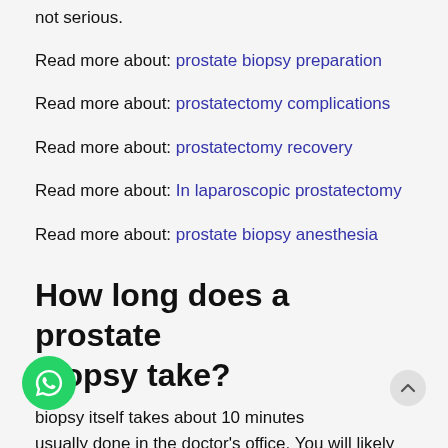not serious.
Read more about: prostate biopsy preparation
Read more about: prostatectomy complications
Read more about: prostatectomy recovery
Read more about: In laparoscopic prostatectomy
Read more about: prostate biopsy anesthesia
How long does a prostate biopsy take?
biopsy itself takes about 10 minutes usually done in the doctor's office. You will likely